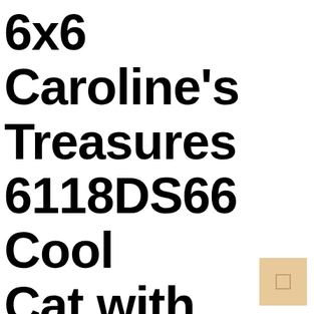6x6 Caroline's Treasures 6118DS66 Cool Cat with Sunglasses at The Beach Wall or Door Hanging